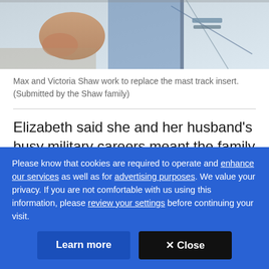[Figure (photo): Partial photo of Max and Victoria Shaw working on a sailboat mast track insert, showing hands and boat rigging against a blue/white background]
Max and Victoria Shaw work to replace the mast track insert. (Submitted by the Shaw family)
Elizabeth said she and her husband's busy military careers meant the family members were hustling "all the time from one thing to the next.
Partial/cut-off text line (obscured by cookie banner)
Please know that cookies are required to operate and enhance our services as well as for advertising purposes. We value your privacy. If you are not comfortable with us using this information, please review your settings before continuing your visit.
Learn more
✕ Close